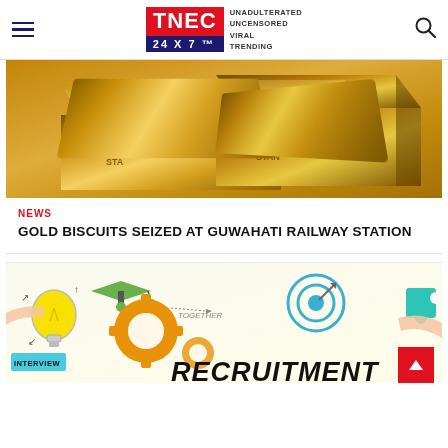TNEC 24X7 — UNADULTERATED UNCENSORED VIRAL TRENDING
[Figure (photo): Gold bars/biscuits stacked on a surface, shiny golden color]
NEWS
GOLD BISCUITS SEIZED AT GUWAHATI RAILWAY STATION
[Figure (photo): Recruitment concept illustration with gears, lightbulb, graduation cap, target, interview sign, and 'RECRUITMENT' text]